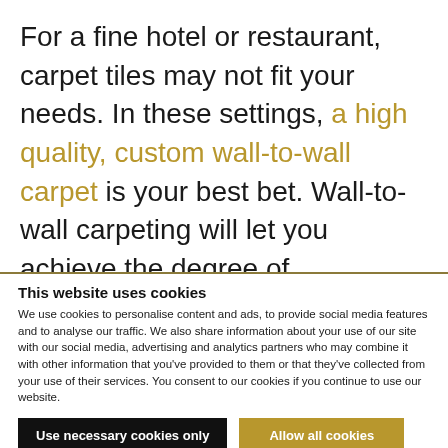For a fine hotel or restaurant, carpet tiles may not fit your needs. In these settings, a high quality, custom wall-to-wall carpet is your best bet. Wall-to-wall carpeting will let you achieve the degree of customisation and the lush underfoot feel that such high-ambition projects would require. For everything else, though, you
This website uses cookies
We use cookies to personalise content and ads, to provide social media features and to analyse our traffic. We also share information about your use of our site with our social media, advertising and analytics partners who may combine it with other information that you've provided to them or that they've collected from your use of their services. You consent to our cookies if you continue to use our website.
Use necessary cookies only
Allow all cookies
Show details